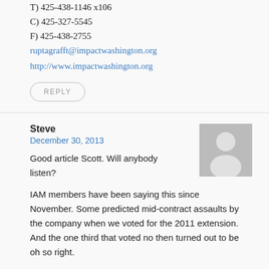T) 425-438-1146 x106
C) 425-327-5545
F) 425-438-2755
ruptagrafft@impactwashington.org
http://www.impactwashington.org
REPLY
Steve
December 30, 2013
[Figure (illustration): Generic user avatar silhouette on gray background]
Good article Scott. Will anybody listen?
IAM members have been saying this since November. Some predicted mid-contract assaults by the company when we voted for the 2011 extension. And the one third that voted no then turned out to be oh so right.
I voted for that extension and am now ashamed of that vote.